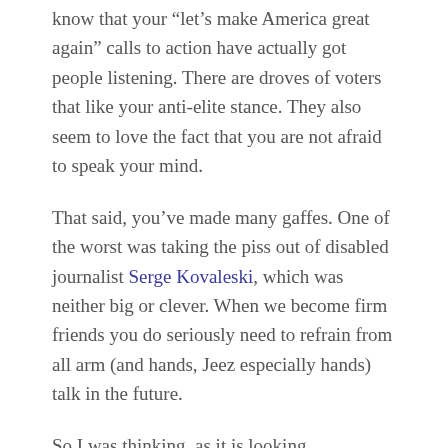know that your “let’s make America great again” calls to action have actually got people listening. There are droves of voters that like your anti-elite stance. They also seem to love the fact that you are not afraid to speak your mind.
That said, you’ve made many gaffes. One of the worst was taking the piss out of disabled journalist Serge Kovaleski, which was neither big or clever. When we become firm friends you do seriously need to refrain from all arm (and hands, Jeez especially hands) talk in the future.
So I was thinking, as it is looking increasingly possible that you are about to become leader of the free world, you are going to need a decent counterpart in the UK. I just have a feeling that you and Dave are not really going to get along. Not sure Sam will let him go to Hooters. And I think Jezza is not that interested in being the next PM – he gets his kicks from winding up the opposition (not so much fun if you are in charge).